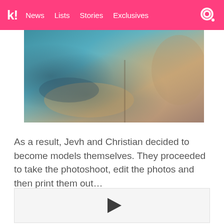k! News Lists Stories Exclusives
[Figure (photo): A photoshoot image showing hands and a person, blurred/cropped]
As a result, Jevh and Christian decided to become models themselves. They proceeded to take the photoshoot, edit the photos and then print them out…
[Figure (other): Video player placeholder with play button]